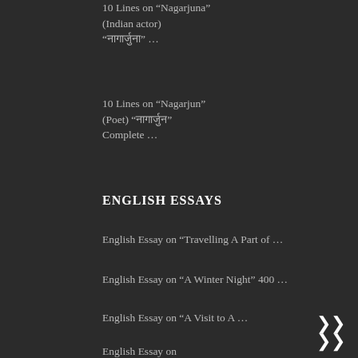10 Lines on “Nagarjuna” (Indian actor) “नागार्जुनe” …
10 Lines on “Nagarjun” (Poet) “नागार्जुन” Complete …
ENGLISH ESSAYS
English Essay on “Travelling A Part of …
English Essay on “A Winter Night” 400 …
English Essay on “A Visit to A …
English Essay on “A Visit to A …
English Essay on